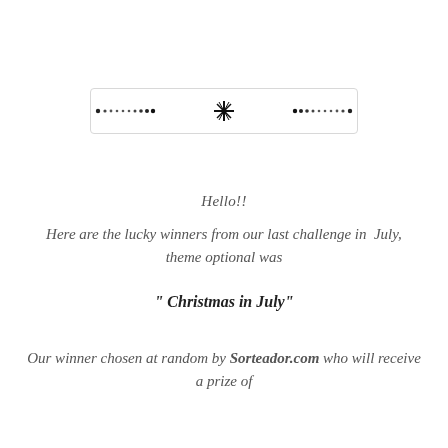[Figure (illustration): Decorative horizontal divider bar with dots and a central floral/snowflake ornament, inside a light gray rounded rectangle border.]
Hello!!
Here are the lucky winners from our last challenge in  July, theme optional was
" Christmas in July"
Our winner chosen at random by Sorteador.com who will receive a prize of